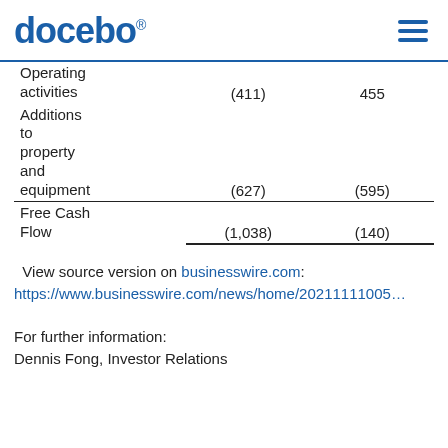docebo
|  |  |  |
| --- | --- | --- |
| Operating activities | (411) | 455 |
| Additions to property and equipment | (627) | (595) |
| Free Cash Flow | (1,038) | (140) |
View source version on businesswire.com: https://www.businesswire.com/news/home/20211111005...
For further information:
Dennis Fong, Investor Relations